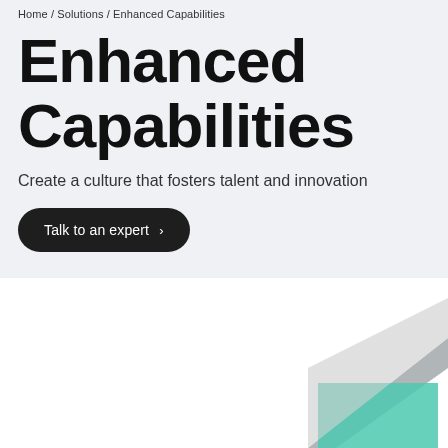Home / Solutions / Enhanced Capabilities
Enhanced Capabilities
Create a culture that fosters talent and innovation
Talk to an expert ›
[Figure (illustration): Partial illustration showing a stylized laptop or tablet device with teal and grey geometric shapes, visible in the lower-right portion of the page]